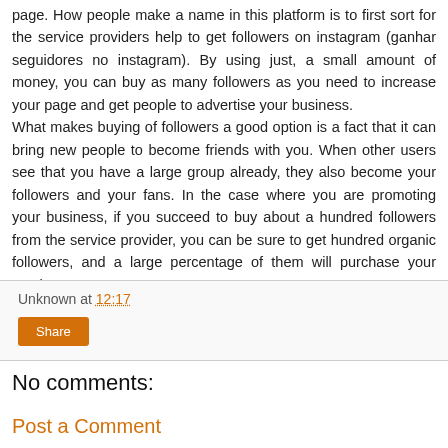page. How people make a name in this platform is to first sort for the service providers help to get followers on instagram (ganhar seguidores no instagram). By using just, a small amount of money, you can buy as many followers as you need to increase your page and get people to advertise your business. What makes buying of followers a good option is a fact that it can bring new people to become friends with you. When other users see that you have a large group already, they also become your followers and your fans. In the case where you are promoting your business, if you succeed to buy about a hundred followers from the service provider, you can be sure to get hundred organic followers, and a large percentage of them will purchase your service.
Unknown at 12:17
Share
No comments:
Post a Comment